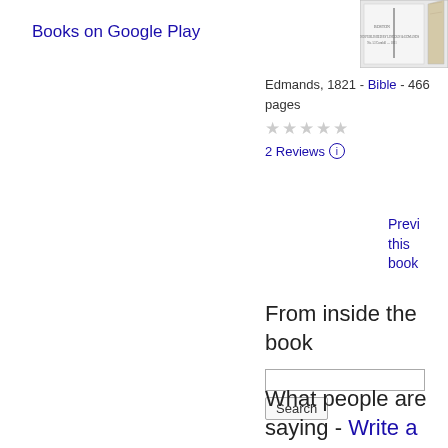Books on Google Play
[Figure (illustration): Book cover thumbnail for a Bible published by Edmands, 1821]
Edmands, 1821 - Bible - 466 pages
★★★★★ (empty stars)
2 Reviews ⓘ
Preview this book
From inside the book
Search
What people are saying - Write a